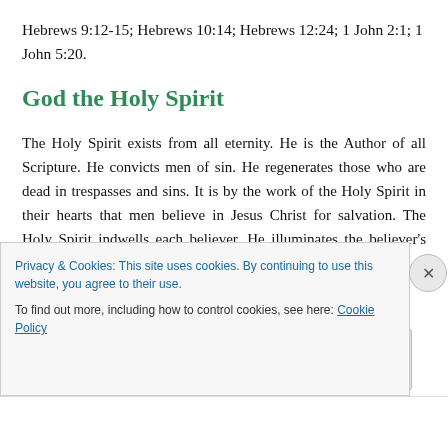Hebrews 9:12-15; Hebrews 10:14; Hebrews 12:24; 1 John 2:1; 1 John 5:20.
God the Holy Spirit
The Holy Spirit exists from all eternity. He is the Author of all Scripture. He convicts men of sin. He regenerates those who are dead in trespasses and sins. It is by the work of the Holy Spirit in their hearts that men believe in Jesus Christ for salvation. The Holy Spirit indwells each believer. He illuminates the believer's spiritual
Privacy & Cookies: This site uses cookies. By continuing to use this website, you agree to their use.
To find out more, including how to control cookies, see here: Cookie Policy